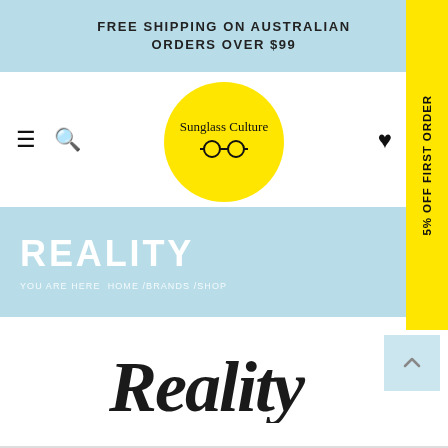FREE SHIPPING ON AUSTRALIAN ORDERS OVER $99
[Figure (logo): Sunglass Culture logo — yellow circle with 'Sunglass Culture' text and eyeglasses icon]
REALITY
YOU ARE HERE  HOME /BRANDS /SHOP
[Figure (logo): Reality brand logo in script/cursive black handwriting font]
5% OFF FIRST ORDER